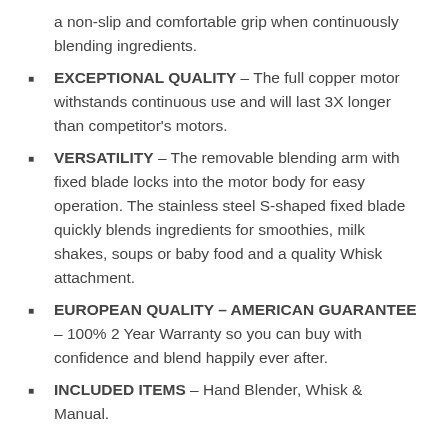a non-slip and comfortable grip when continuously blending ingredients.
EXCEPTIONAL QUALITY – The full copper motor withstands continuous use and will last 3X longer than competitor's motors.
VERSATILITY – The removable blending arm with fixed blade locks into the motor body for easy operation. The stainless steel S-shaped fixed blade quickly blends ingredients for smoothies, milk shakes, soups or baby food and a quality Whisk attachment.
EUROPEAN QUALITY – AMERICAN GUARANTEE – 100% 2 Year Warranty so you can buy with confidence and blend happily ever after.
INCLUDED ITEMS – Hand Blender, Whisk & Manual.
9. KOIOS Powerful 500 Watt Immersion